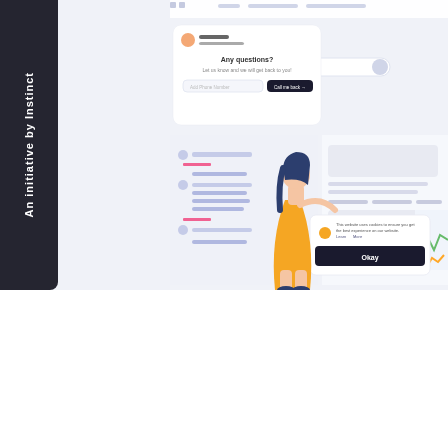[Figure (screenshot): Screenshot of a website interface showing a support chat widget with 'Sarah, Support Team' and 'Any questions? Let us know and we will get back to you!' message, a phone number input field with 'Call me back' button, navigation elements, content placeholders, a cookie consent popup saying 'This website uses cookies to ensure you get the best experience on our website. Learn More' with an 'Okay' button, and a line chart partially visible on the right. An illustrated woman in a yellow dress is interacting with the interface.]
An initiative by Instinct